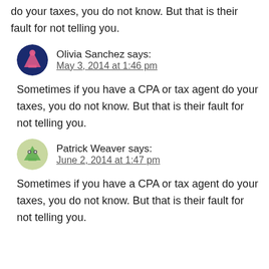do your taxes, you do not know. But that is their fault for not telling you.
Olivia Sanchez says:
May 3, 2014 at 1:46 pm
Sometimes if you have a CPA or tax agent do your taxes, you do not know. But that is their fault for not telling you.
Patrick Weaver says:
June 2, 2014 at 1:47 pm
Sometimes if you have a CPA or tax agent do your taxes, you do not know. But that is their fault for not telling you.